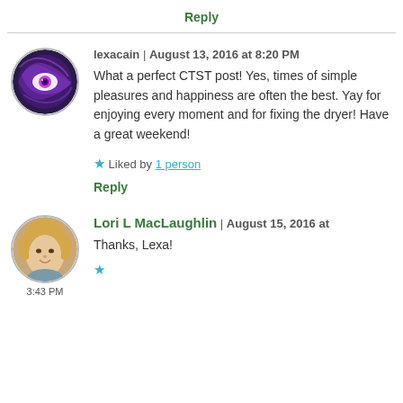Reply
[Figure (other): Avatar image of lexacain — purple swirling eye illustration in a circular frame]
lexacain | August 13, 2016 at 8:20 PM
What a perfect CTST post! Yes, times of simple pleasures and happiness are often the best. Yay for enjoying every moment and for fixing the dryer! Have a great weekend!
★ Liked by 1 person
Reply
[Figure (photo): Avatar photo of Lori L MacLaughlin — woman with blonde hair, circular frame]
Lori L MacLaughlin | August 15, 2016 at 3:43 PM
Thanks, Lexa!